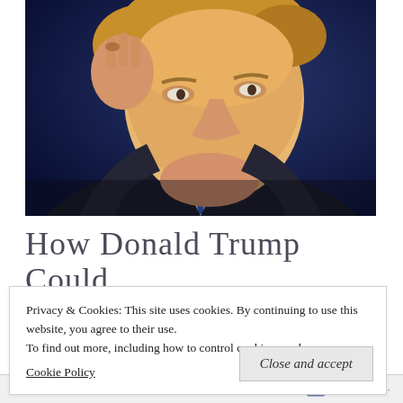[Figure (photo): Close-up photograph of Donald Trump in a dark suit and blue tie, hand raised with fingers pinched, making an expression, against a dark blue background.]
How Donald Trump Could
Believe from Blaming Video
Privacy & Cookies: This site uses cookies. By continuing to use this website, you agree to their use.
To find out more, including how to control cookies, see here:
Cookie Policy
Close and accept
Follow ...